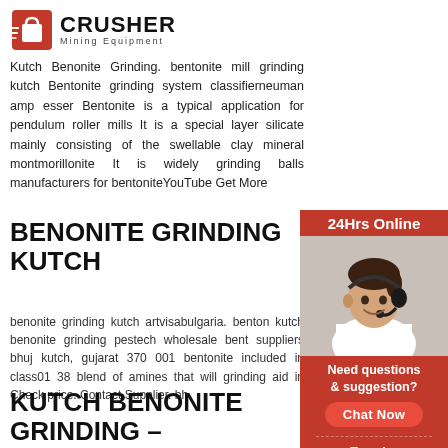[Figure (logo): Crusher Mining Equipment logo with red shopping bag icon and bold CRUSHER text]
Kutch Benonite Grinding. bentonite mill grinding kutch Bentonite grinding system classifierneuman amp esser Bentonite is a typical application for pendulum roller mills It is a special layer silicate mainly consisting of the swellable clay mineral montmorillonite It is widely grinding balls manufacturers for bentoniteYouTube Get More
BENONITE GRINDING KUTCH
benonite grinding kutch artvisabulgaria. benton kutch benonite grinding pestech wholesale bent suppliers bhuj kutch, gujarat 370 001 bentonite included in class01 38 blend of amines that will grinding aid in Check price. Contact Supplier. bh
KUTCH BENONITE GRINDING –
[Figure (photo): 24Hrs Online banner with smiling woman wearing headset, Need questions & suggestion? text, Chat Now button, Enquiry link, limingjlmofen@sina.com email]
24Hrs Online
Need questions & suggestion?
Chat Now
Enquiry
limingjlmofen@sina.com